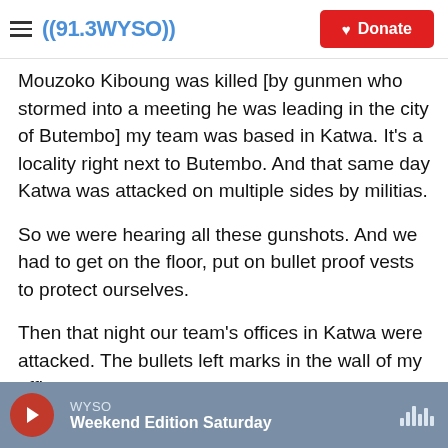((91.3WYSO)) Donate
Mouzoko Kiboung was killed [by gunmen who stormed into a meeting he was leading in the city of Butembo] my team was based in Katwa. It's a locality right next to Butembo. And that same day Katwa was attacked on multiple sides by militias.
So we were hearing all these gunshots. And we had to get on the floor, put on bullet proof vests to protect ourselves.
Then that night our team's offices in Katwa were attacked. The bullets left marks in the wall of my office.
WYSO Weekend Edition Saturday